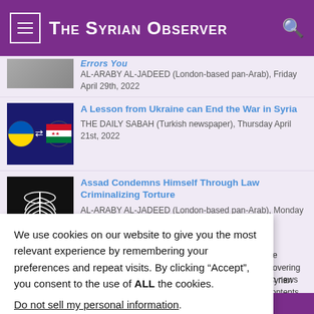The Syrian Observer
[Figure (screenshot): Partially visible article thumbnail at top]
AL-ARABY AL-JADEED (London-based pan-Arab), Friday April 29th, 2022
[Figure (illustration): Ukraine and Syria flags with arrows between them]
A Lesson from Ukraine can End the War in Syria
THE DAILY SABAH (Turkish newspaper), Thursday April 21st, 2022
[Figure (photo): X-ray of ribcage illustration]
Assad Condemns Himself Through Law Criminalizing Torture
AL-ARABY AL-JADEED (London-based pan-Arab), Monday April
We use cookies on our website to give you the most relevant experience by remembering your preferences and repeat visits. By clicking “Accept”, you consent to the use of ALL the cookies.
Do not sell my personal information.
Cookie Settings
Accept
ce covering Syrian
sh news contents
oups,activists and
Subscribe to our newsletter!